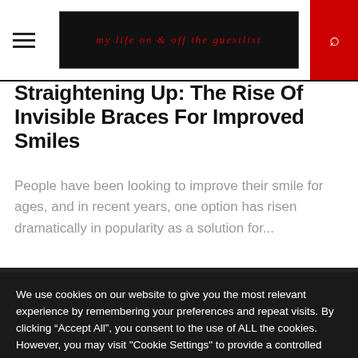MY LIFE ON & OFF THE GUESTLIST
Straightening Up: The Rise Of Invisible Braces For Improved Smiles
People have been looking to improve their smile for ages, and in recent years, one option has risen dramatically in popularity as a solution for...
We use cookies on our website to give you the most relevant experience by remembering your preferences and repeat visits. By clicking "Accept All", you consent to the use of ALL the cookies. However, you may visit "Cookie Settings" to provide a controlled consent.